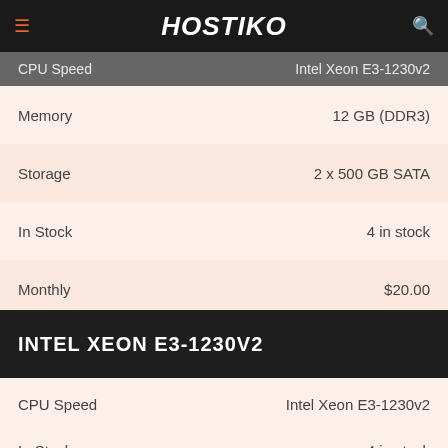HOSTIKO
| Spec | Value |
| --- | --- |
| CPU Speed | Intel Xeon E3-1230v2 |
| Memory | 12 GB (DDR3) |
| Storage | 2 x 500 GB SATA |
| In Stock | 4 in stock |
| Monthly | $20.00 |
INTEL XEON E3-1230V2
| Spec | Value |
| --- | --- |
| CPU Speed | Intel Xeon E3-1230v2 |
| Memory | 12 GB (DDR3) |
| Storage | 2 x 500 GB SATA |
| In Stock | 4 in stock |